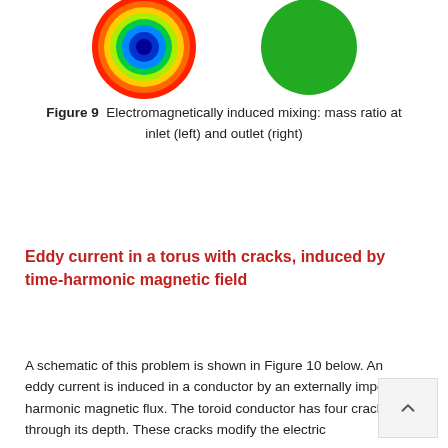[Figure (illustration): Two circular images: left shows a rainbow-colored concentric ring pattern (electromagnetically induced mixing at inlet), right shows a solid green circle (at outlet).]
Figure 9  Electromagnetically induced mixing: mass ratio at inlet (left) and outlet (right)
Eddy current in a torus with cracks, induced by time-harmonic magnetic field
A schematic of this problem is shown in Figure 10 below. An eddy current is induced in a conductor by an externally imposed harmonic magnetic flux. The toroid conductor has four cracks through its depth. These cracks modify the electric